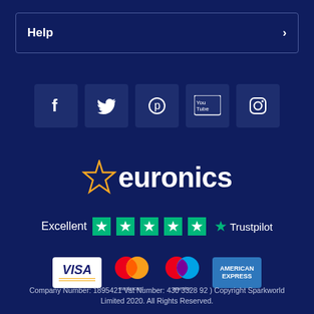Help
[Figure (infographic): Social media icons: Facebook, Twitter, Pinterest, YouTube, Instagram on dark blue square backgrounds]
[Figure (logo): Euronics logo with yellow star and white text 'euronics']
[Figure (infographic): Trustpilot rating: Excellent with 5 green stars and Trustpilot logo]
[Figure (infographic): Payment method logos: Visa, Mastercard, Maestro, American Express]
Company Number: 1895421 Vat Number: 430 3328 92 ) Copyright Sparkworld Limited 2020. All Rights Reserved.